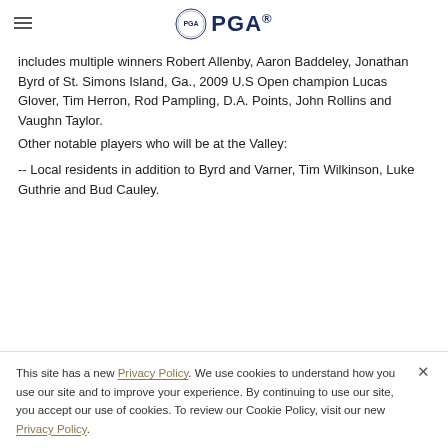PGA
includes multiple winners Robert Allenby, Aaron Baddeley, Jonathan Byrd of St. Simons Island, Ga., 2009 U.S Open champion Lucas Glover, Tim Herron, Rod Pampling, D.A. Points, John Rollins and Vaughn Taylor.
Other notable players who will be at the Valley:
-- Local residents in addition to Byrd and Varner, Tim Wilkinson, Luke Guthrie and Bud Cauley.
This site has a new Privacy Policy. We use cookies to understand how you use our site and to improve your experience. By continuing to use our site, you accept our use of cookies. To review our Cookie Policy, visit our new Privacy Policy.